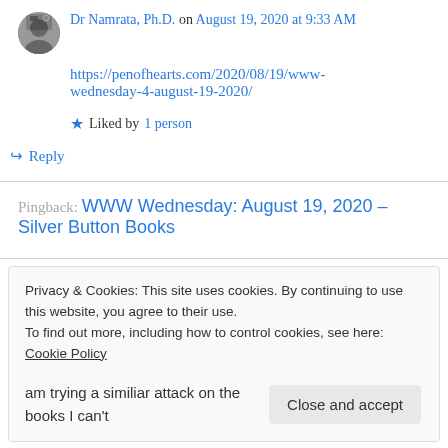Dr Namrata, Ph.D. on August 19, 2020 at 9:33 AM
https://penofhearts.com/2020/08/19/www-wednesday-4-august-19-2020/
Liked by 1 person
Reply
Pingback: WWW Wednesday: August 19, 2020 – Silver Button Books
Privacy & Cookies: This site uses cookies. By continuing to use this website, you agree to their use. To find out more, including how to control cookies, see here: Cookie Policy
Close and accept
am trying a similiar attack on the books I can't